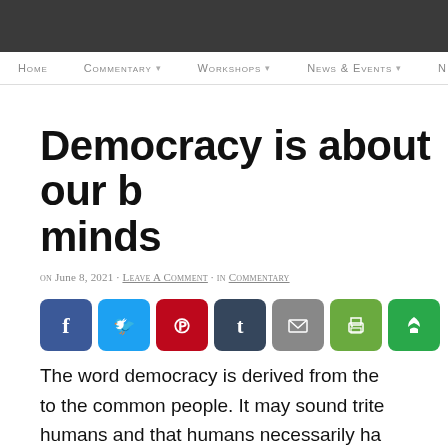Home  Commentary  Workshops  News & Events  M
Democracy is about our b minds
on June 8, 2021 · Leave A Comment · in Commentary
[Figure (infographic): Social sharing buttons: Facebook, Twitter, Pinterest, Tumblr, Email, Print, Save]
The word democracy is derived from the to the common people. It may sound trite humans and that humans necessarily ha where I want to start this.